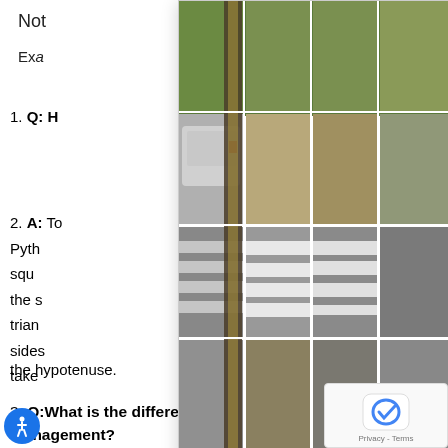Not
Exa
1. Q: H
2. A: To Pythagorean theorem states that the square ... to the sum of the squares of the sides of the triangle ... sides ... take ... you the hypotenuse.
[Figure (screenshot): CAPTCHA image grid showing a street scene with a car, crosswalk/pedestrian crossing stripes, and road. 4x4 grid of image tiles. Below the grid are controls: refresh icon, headphones icon, info icon, and a blue SKIP button.]
3. Q:What is the difference between leadership and management?